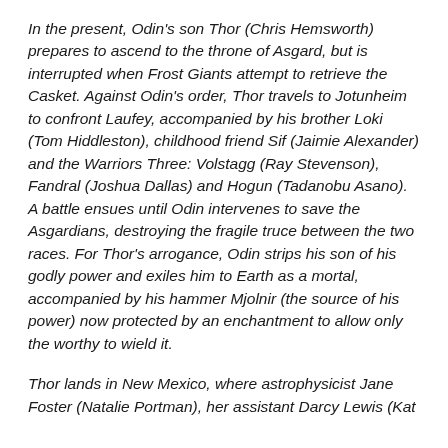In the present, Odin's son Thor (Chris Hemsworth) prepares to ascend to the throne of Asgard, but is interrupted when Frost Giants attempt to retrieve the Casket. Against Odin's order, Thor travels to Jotunheim to confront Laufey, accompanied by his brother Loki (Tom Hiddleston), childhood friend Sif (Jaimie Alexander) and the Warriors Three: Volstagg (Ray Stevenson), Fandral (Joshua Dallas) and Hogun (Tadanobu Asano). A battle ensues until Odin intervenes to save the Asgardians, destroying the fragile truce between the two races. For Thor's arrogance, Odin strips his son of his godly power and exiles him to Earth as a mortal, accompanied by his hammer Mjolnir (the source of his power) now protected by an enchantment to allow only the worthy to wield it.
Thor lands in New Mexico, where astrophysicist Jane Foster (Natalie Portman), her assistant Darcy Lewis (Kat...